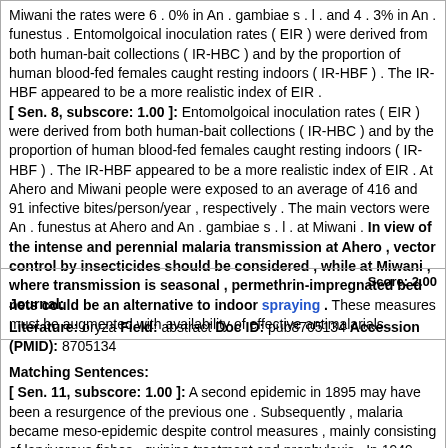Miwani the rates were 6 . 0% in An . gambiae s . l . and 4 . 3% in An . funestus . Entomolgoical inoculation rates ( EIR ) were derived from both human-bait collections ( IR-HBC ) and by the proportion of human blood-fed females caught resting indoors ( IR-HBF ) . The IR-HBF appeared to be a more realistic index of EIR .
[ Sen. 8, subscore: 1.00 ]: Entomolgoical inoculation rates ( EIR ) were derived from both human-bait collections ( IR-HBC ) and by the proportion of human blood-fed females caught resting indoors ( IR-HBF ) . The IR-HBF appeared to be a more realistic index of EIR . At Ahero and Miwani people were exposed to an average of 416 and 91 infective bites/person/year , respectively . The main vectors were An . funestus at Ahero and An . gambiae s . l . at Miwani . In view of the intense and perennial malaria transmission at Ahero , vector control by insecticides should be considered , while at Miwani , where transmission is seasonal , permethrin-impregnated bed nets could be an alternative to indoor spraying . These measures must be augmented with availability of effective antimalarials .
Score: 2.00
Journal:
Literature: oryza Field: abstract Doc ID: pub8705134 Accession (PMID): 8705134
Matching Sentences:
[ Sen. 11, subscore: 1.00 ]: A second epidemic in 1895 may have been a resurgence of the previous one . Subsequently , malaria became meso-epidemic despite control measures , mainly consisting of larvivorous fishes , quinine treatment and prophylaxis . In 1949 , an eradication program was launched based on DDT house-spraying and chloroquine prophylaxis in children . It was very successful on the